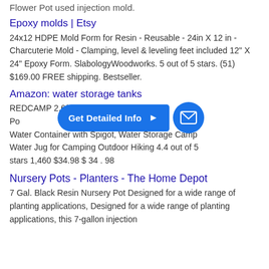Flower Pot used injection mold.
Epoxy molds | Etsy
24x12 HDPE Mold Form for Resin - Reusable - 24in X 12 in - Charcuterie Mold - Clamping, level & leveling feet included 12" X 24" Epoxy Form. SlabologyWoodworks. 5 out of 5 stars. (51) $169.00 FREE shipping. Bestseller.
Amazon: water storage tanks
REDCAMP 2.6/2.8/... Portable Water Container with Spigot, Water Storage Camp Water Jug for Camping Outdoor Hiking 4.4 out of 5 stars 1,460 $34.98 $ 34 . 98
[Figure (infographic): Blue 'Get Detailed Info' pill button with arrow and blue email icon circle overlay on text]
Nursery Pots - Planters - The Home Depot
7 Gal. Black Resin Nursery Pot Designed for a wide range of planting applications, Designed for a wide range of planting applications, this 7-gallon injection